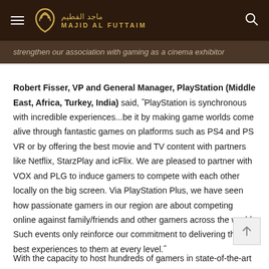Majid Al Futtaim
strengthen our association with gaming as a cinema exhibitor
Robert Fisser, VP and General Manager, PlayStation (Middle East, Africa, Turkey, India) said, “PlayStation is synchronous with incredible experiences...be it by making game worlds come alive through fantastic games on platforms such as PS4 and PS VR or by offering the best movie and TV content with partners like Netflix, StarzPlay and icFlix. We are pleased to partner with VOX and PLG to induce gamers to compete with each other locally on the big screen. Via PlayStation Plus, we have seen how passionate gamers in our region are about competing online against family/friends and other gamers across the world. Such events only reinforce our commitment to delivering the best experiences to them at every level.”
With the capacity to host hundreds of gamers in state-of-the-art